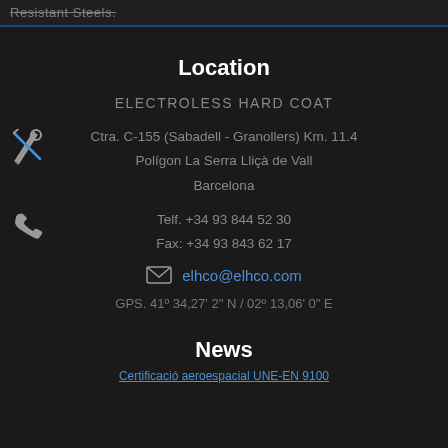Resistant Steels.
Location
ELECTROLESS HARD COAT
Ctra. C-155 (Sabadell - Granollers) Km. 11.4
Polígon La Serra Lliçà de Vall
Barcelona
Telf. +34 93 844 52 30
Fax: +34 93 843 62 17
elhco@elhco.com
GPS. 41º 34,27' 2" N / 02º 13,06' 0" E
News
Certificació aeroespacial UNE-EN 9100